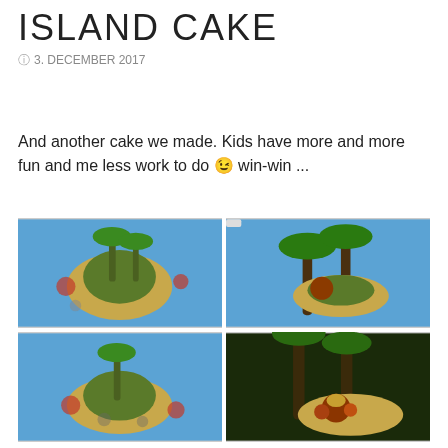ISLAND CAKE
3. DECEMBER 2017
And another cake we made. Kids have more and more fun and me less work to do 😉 win-win ...
[Figure (photo): Four photos of a fondant-decorated island cake, showing the full cake from above and close-up detail shots of figurines on a sandy island surrounded by blue fondant water with palm trees.]